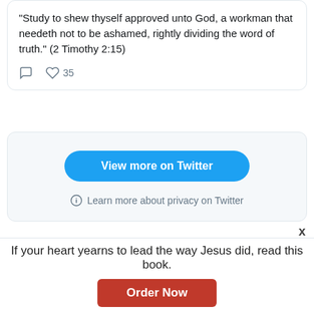"Study to shew thyself approved unto God, a workman that needeth not to be ashamed, rightly dividing the word of truth." (2 Timothy 2:15)
[Figure (screenshot): Tweet interaction icons: comment bubble and heart icon with count 35]
[Figure (screenshot): Twitter embed footer with 'View more on Twitter' blue button and 'Learn more about privacy on Twitter' link with info icon]
[Figure (screenshot): Facebook share button (dark blue with f icon) and Twitter share button (light blue with bird icon), and grey scroll-to-top button]
If your heart yearns to lead the way Jesus did, read this book.
Order Now